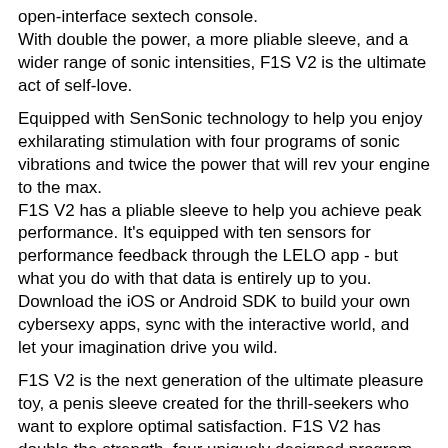open-interface sextech console. With double the power, a more pliable sleeve, and a wider range of sonic intensities, F1S V2 is the ultimate act of self-love.
Equipped with SenSonic technology to help you enjoy exhilarating stimulation with four programs of sonic vibrations and twice the power that will rev your engine to the max. F1S V2 has a pliable sleeve to help you achieve peak performance. It's equipped with ten sensors for performance feedback through the LELO app - but what you do with that data is entirely up to you. Download the iOS or Android SDK to build your own cybersexy apps, sync with the interactive world, and let your imagination drive you wild.
F1S V2 is the next generation of the ultimate pleasure toy, a penis sleeve created for the thrill-seekers who want to explore optimal satisfaction. F1S V2 has double the strength, four uniquely designed program variations, and a softer, more flexible sleeve for a wide range of shapes and sizes. The toy has ten highly sensitive sensors allowing for performance feedback through the LELO app, allowing you to build the most pleasurable set of programs for your ultimate orgasm.
An exclusive F1S app will become available to you when your product is shipped, compatible with iOS and Android. Connected by Bluetooth, the app allows you greater and closer control over your personal pleasure. With the app, you truly put pleasure at